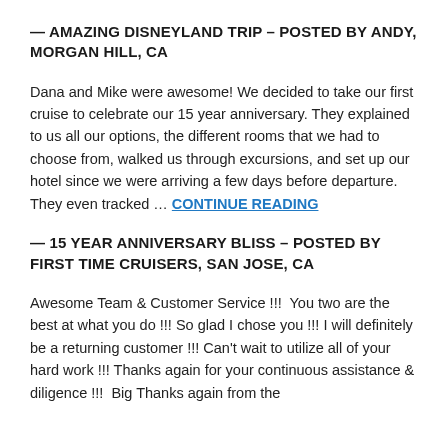— AMAZING DISNEYLAND TRIP – POSTED BY ANDY, MORGAN HILL, CA
Dana and Mike were awesome! We decided to take our first cruise to celebrate our 15 year anniversary. They explained to us all our options, the different rooms that we had to choose from, walked us through excursions, and set up our hotel since we were arriving a few days before departure. They even tracked … CONTINUE READING
— 15 YEAR ANNIVERSARY BLISS – POSTED BY FIRST TIME CRUISERS, SAN JOSE, CA
Awesome Team & Customer Service !!!  You two are the best at what you do !!! So glad I chose you !!! I will definitely be a returning customer !!! Can't wait to utilize all of your hard work !!! Thanks again for your continuous assistance & diligence !!!  Big Thanks again from the